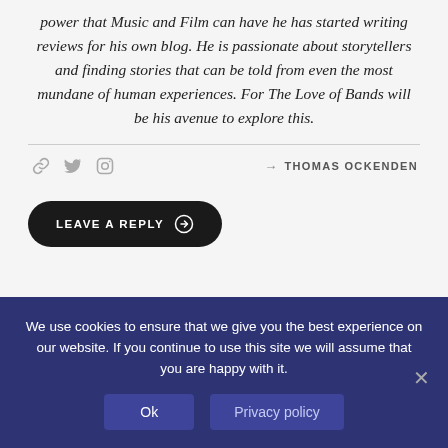power that Music and Film can have he has started writing reviews for his own blog. He is passionate about storytellers and finding stories that can be told from even the most mundane of human experiences. For The Love of Bands will be his avenue to explore this.
→ THOMAS OCKENDEN
LEAVE A REPLY
We use cookies to ensure that we give you the best experience on our website. If you continue to use this site we will assume that you are happy with it.
Ok
Privacy policy